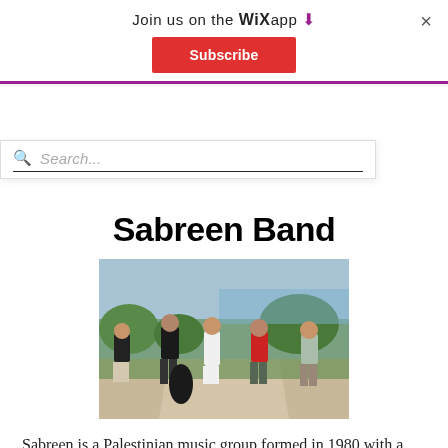Join us on the WiX app ↓  ×
Subscribe to our newsletter for the latest updates
Subscribe
Search...
Sabreen Band
[Figure (photo): Group photo of five members of Sabreen Band standing outdoors on a path with trees and sea in the background. Members wearing casual clothes — black shirts, white dress, red shirt.]
Sabreen is a Palestinian music group formed in 1980 with a vision to develop the Palestinian modern